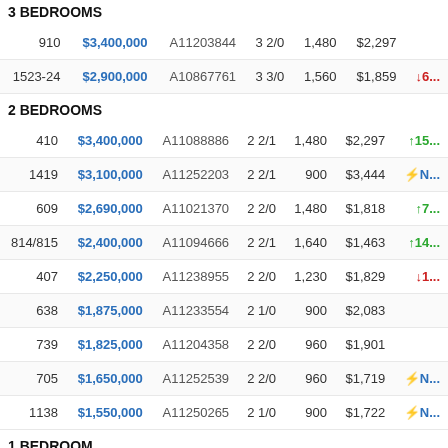3 BEDROOMS
| Unit | Price | MLS# | Bed/Bath | Sqft | $/Sqft |  |
| --- | --- | --- | --- | --- | --- | --- |
| 910 | $3,400,000 | A11203844 | 3 2/0 | 1,480 | $2,297 |  |
| 1523-24 | $2,900,000 | A10867761 | 3 3/0 | 1,560 | $1,859 | ↓6... |
2 BEDROOMS
| Unit | Price | MLS# | Bed/Bath | Sqft | $/Sqft |  |
| --- | --- | --- | --- | --- | --- | --- |
| 410 | $3,400,000 | A11088886 | 2 2/1 | 1,480 | $2,297 | ↑15... |
| 1419 | $3,100,000 | A11252203 | 2 2/1 | 900 | $3,444 | ⚡N... |
| 609 | $2,690,000 | A11021370 | 2 2/0 | 1,480 | $1,818 | ↑7... |
| 814/815 | $2,400,000 | A11094666 | 2 2/1 | 1,640 | $1,463 | ↑14... |
| 407 | $2,250,000 | A11238955 | 2 2/0 | 1,230 | $1,829 | ↓1... |
| 638 | $1,875,000 | A11233554 | 2 1/0 | 900 | $2,083 |  |
| 739 | $1,825,000 | A11204358 | 2 2/0 | 960 | $1,901 |  |
| 705 | $1,650,000 | A11252539 | 2 2/0 | 960 | $1,719 | ⚡N... |
| 1138 | $1,550,000 | A11250265 | 2 1/0 | 900 | $1,722 | ⚡N... |
1 BEDROOM